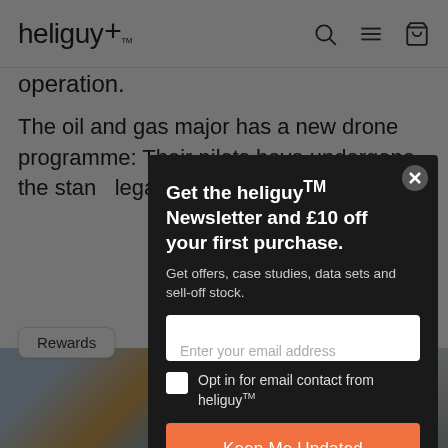heliguy™ [navigation bar with search, menu, and cart icons]
operation.
The oil and gas major has a new drone programme: Their pilots have undergone the standard legally experienced operations.
[Figure (photo): Two photos partially visible at the bottom: left shows colorful scene with orange and blue tones, right shows an aerial/top-down view with light tones and lines]
Rewards
Get the heliguy™ Newsletter and £10 off your first purchase. Get offers, case studies, data sets and sell-off stock. [Email input field: Enter your email address] [Checkbox: Opt in for email contact from heliguy™] [Button: Keep Me Updated]